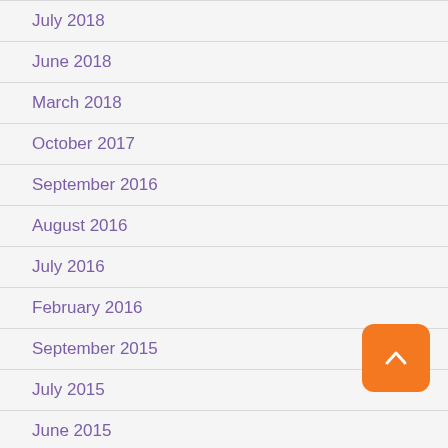July 2018
June 2018
March 2018
October 2017
September 2016
August 2016
July 2016
February 2016
September 2015
July 2015
June 2015
May 2015